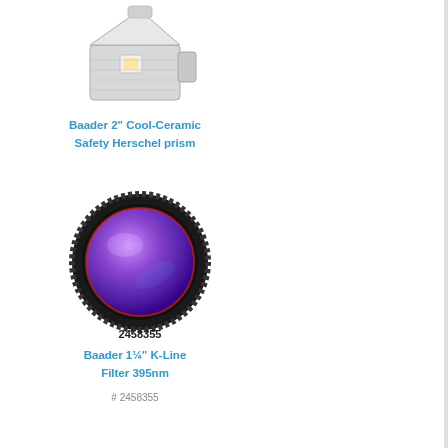[Figure (photo): Baader 2 inch Cool-Ceramic Safety Herschel prism product photo, showing a white/silver angled optical prism device]
Baader 2" Cool-Ceramic Safety Herschel prism
[Figure (photo): Baader 1.25 inch K-Line Filter 395nm product photo, showing a circular filter with purple/violet lens in black housing, labeled 2458355]
Baader 1¼" K-Line Filter 395nm
# 2458355